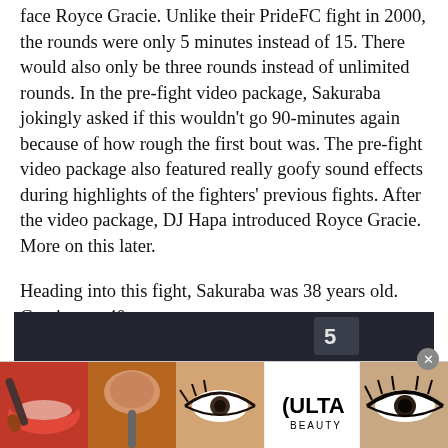face Royce Gracie. Unlike their PrideFC fight in 2000, the rounds were only 5 minutes instead of 15. There would also only be three rounds instead of unlimited rounds. In the pre-fight video package, Sakuraba jokingly asked if this wouldn't go 90-minutes again because of how rough the first bout was. The pre-fight video package also featured really goofy sound effects during highlights of the fighters' previous fights. After the video package, DJ Hapa introduced Royce Gracie. More on this later.
Heading into this fight, Sakuraba was 38 years old. Gracie was 40.
[Figure (photo): Partial view of a dark indoor scene at the top, below it an advertisement banner for Ulta Beauty showing close-up makeup images: lips with red lipstick and a brush, an eye with liner, the Ulta logo, and another eye. The banner has a 'SHOP NOW' call to action on the right and an X close button.]